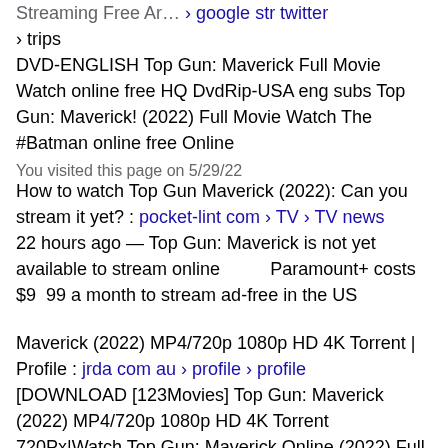Streaming Free Ar… › google str twitter › trips
DVD-ENGLISH Top Gun: Maverick Full Movie Watch online free HQ DvdRip-USA eng subs Top Gun: Maverick! (2022) Full Movie Watch The #Batman online free Online
You visited this page on 5/29/22
How to watch Top Gun Maverick (2022): Can you stream it yet? : pocket-lint com › TV › TV news
22 hours ago — Top Gun: Maverick is not yet available to stream online        Paramount+ costs $9 99 a month to stream ad-free in the US
Maverick (2022) MP4/720p 1080p HD 4K Torrent | Profile : jrda com au › profile › profile
[DOWNLOAD [123Movies] Top Gun: Maverick (2022) MP4/720p 1080p HD 4K Torrent 720Px|Watch Top Gun: Maverick Online (2022) Full MovieS Free HD Google